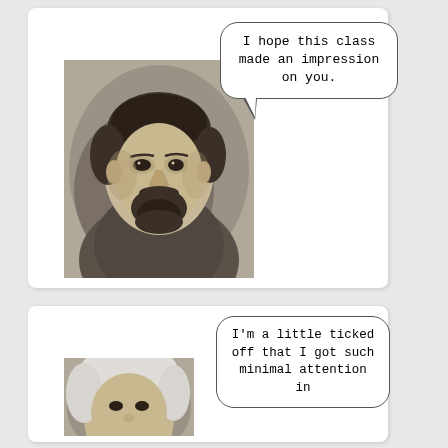[Figure (illustration): Top card: grayscale portrait of a bearded man (Impressionist painter) with a speech bubble saying 'I hope this class made an impression on you.']
I hope this class made an impression on you.
[Figure (illustration): Bottom card: partially visible grayscale portrait with a speech bubble beginning 'I'm a little ticked off that I got such minimal attention in...']
I'm a little ticked off that I got such minimal attention in